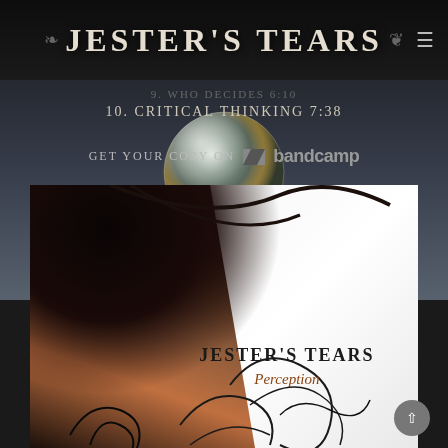Jester's Tears
9. Who Decides 6:10
10. Critical Thinking 7:38
Get your copy on bandcamp
[Figure (photo): Album cover for Jester's Tears – Perception. Features a dark-haired woman with flowing hair and decorative swirl patterns. Text reads 'JESTER'S TEARS' and 'Perception' in serif font.]
[Figure (illustration): A reflective glass sphere/orb floating against a dark cloudy sky background.]